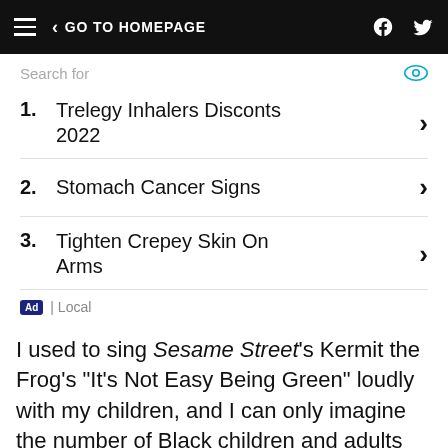GO TO HOMEPAGE
1. Trelegy Inhalers Disconts 2022
2. Stomach Cancer Signs
3. Tighten Crepey Skin On Arms
Ad | Local
I used to sing Sesame Street's Kermit the Frog's "It's Not Easy Being Green" loudly with my children, and I can only imagine the number of Black children and adults who sing inside daily